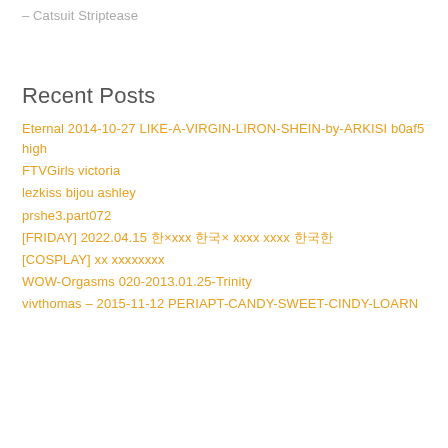– Catsuit Striptease
Recent Posts
Eternal 2014-10-27 LIKE-A-VIRGIN-LIRON-SHEIN-by-ARKISI b0af5 high
FTVGirls victoria
lezkiss bijou ashley
prshe3.part072
[FRIDAY] 2022.04.15 한×xxx 한국× xxxx xxxx 한국한
[COSPLAY] xx xxxxxxxx
WOW-Orgasms 020-2013.01.25-Trinity
vivthomas – 2015-11-12 PERIAPT-CANDY-SWEET-CINDY-LOARN